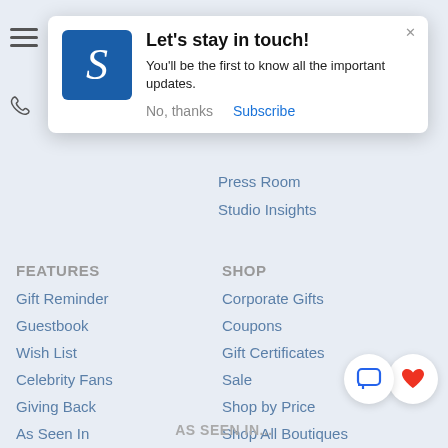[Figure (screenshot): Mobile web page screenshot showing a notification popup overlay and website footer navigation]
Let's stay in touch!
You'll be the first to know all the important updates.
No, thanks   Subscribe
Press Room
Studio Insights
FEATURES
Gift Reminder
Guestbook
Wish List
Celebrity Fans
Giving Back
As Seen In
#thestationerystudio
Influencers
SHOP
Corporate Gifts
Coupons
Gift Certificates
Sale
Shop by Price
Shop All Boutiques
UPLOAD Your Own Artwork
AS SEEN IN...